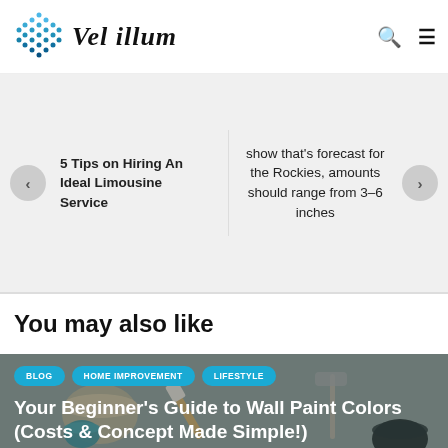Vel illum
5 Tips on Hiring An Ideal Limousine Service
show that's forecast for the Rockies, amounts should range from 3-6 inches
You may also like
[Figure (photo): Paint cans, brushes and painting tools on a surface, used as article feature image]
BLOG
HOME IMPROVEMENT
LIFESTYLE
Your Beginner’s Guide to Wall Paint Colors (Costs & Concept Made Simple!)